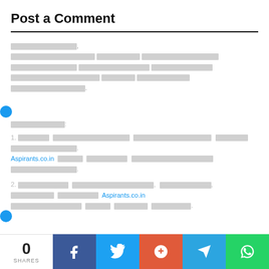Post a Comment
[redacted], [redacted block of text ending with period]
[redacted label]:
1. [redacted] Aspirants.co.in [redacted text].
2. [redacted], [redacted], [redacted] Aspirants.co.in [redacted text].
0 SHARES | Facebook | Twitter | Google+ | Telegram | WhatsApp